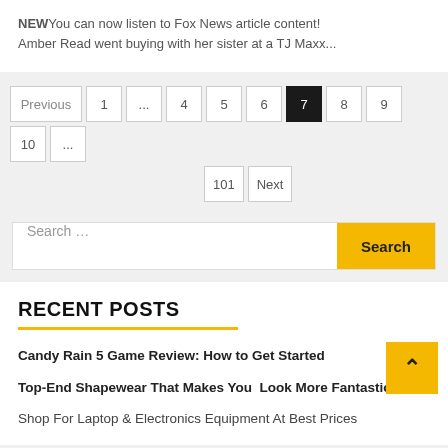NEWYou can now listen to Fox News article content! Amber Read went buying with her sister at a TJ Maxx...
Previous 1 ... 4 5 6 7 8 9 10 ... 101 Next
Search ...
RECENT POSTS
Candy Rain 5 Game Review: How to Get Started
Top-End Shapewear That Makes You  Look More Fantastic
Shop For Laptop & Electronics Equipment At Best Prices